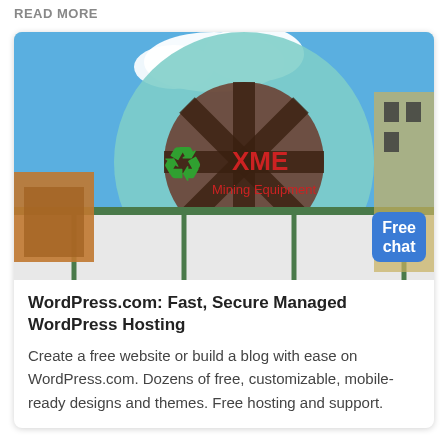READ MORE
[Figure (photo): Photograph of an industrial facility with a large teal/green circular fan or turbine structure labeled 'XME Mining Equipment' and a green recycling symbol, set against a blue sky with clouds. A 'Free chat' badge with an illustration of a woman is overlaid in the bottom-right corner.]
WordPress.com: Fast, Secure Managed WordPress Hosting
Create a free website or build a blog with ease on WordPress.com. Dozens of free, customizable, mobile-ready designs and themes. Free hosting and support.